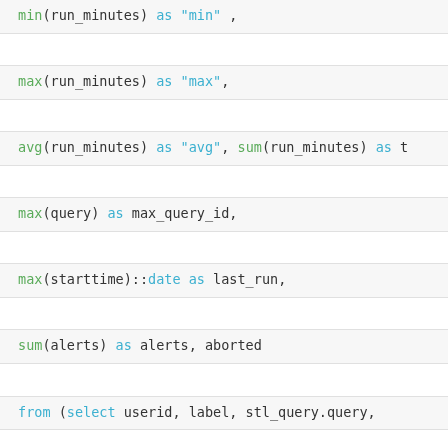min(run_minutes) as "min" ,
max(run_minutes) as "max",
avg(run_minutes) as "avg", sum(run_minutes) as t
max(query) as max_query_id,
max(starttime)::date as last_run,
sum(alerts) as alerts, aborted
from (select userid, label, stl_query.query,
trim(database) as database,
| db | n_qrs | qrytext | min | max | avg | total | max_query_id | last_run | alerts | aborted |
| --- | --- | --- | --- | --- | --- | --- | --- | --- | --- | --- |
| redll | 2 | " 1 集品类Key分市*交管排序考虑: 选择费金key分市 "/ select b.calendar_quarter_desc,a.prod_name,a.pr | 0.02 | 0.50 | 0.26 | 0.51 | 46750423 | 2019-04-24 |  | 0 |
| redll |  | 2 select trim(database) as db, count(query) as n_qrs, max(starttime) [or] limit 1,100] | 0.00 | 0.43 | 0.22 | 0.43 | 46755396 | 2019-04-24 |  | 0 |
| redll |  | 2"* 4 集品类Key分市*交管排序考虑: 选择费金key分市 分市在事实客查询意程条件, 其他选择别分市 "/ select to_char(a.time,... | 0.03 | 0.37 | 0.18 | 0.36 | 46750427 | 2019-04-24 |  | 0 |
| redll |  | 2"* 3 集品类event分市: 选择费金event分市 "/ select to_char(a.time_id,'yyyyymmm') b.prod_name,b.pr | 0.00 | 0.27 | 0.12 | 0.27 | 46750411 | 2019-04-02 |  | 0 |
| redll |  | 2"* 2 集品类event分市: 选择费金event分市 "/ select b.calendar_quarter_desc,a.prod_name,a.prot_3 | 0.00 | 0.15 | 0.08 | 0.15 | 46750426 | 2019-04-24 |  | 0 |
| redll |  | 2"* 1 集品类event分市: 选择费金event分市 "/ select to_char(a.time_id,'yyyyymmm') b.prod_name,b.pro | 0.00 | 0.16 | 0.06 | 0.16 | 46750402 | 2019-04-24 |  | 0 |
| redll |  | 2"* 5 集品类Key分市*交管排序考虑: 选择费金key分市 分市在事实客查询意程条件, 其他选择别分市 通过merge join cost最少 "/ sel | 0.02 | 0.12 | 0.03 | 0.13 | 46750428 | 2019-04-24 |  | 0 |
| redll |  | 2Select * from stl_alert_event_log | 0.12 | 0.12 | 0.12 | 0.12 | 46750362 | 2019-04-24 |  | 0 |
| redll |  | 2"* 6 集品类event分市: 选择费金event分市 "/ select to_char(a.time_id,'yyyyymmm') b.prot_name,b.pro | 0.00 | 0.08 | 0.04 | 0.08 | 46750429 | 2019-04-24 |  | 0 |
这里结果集里redll这行在n_qrs列下面显示了两次: 处于n_qrs列下的 qrytext列显示了相应的qrytext内容。这里